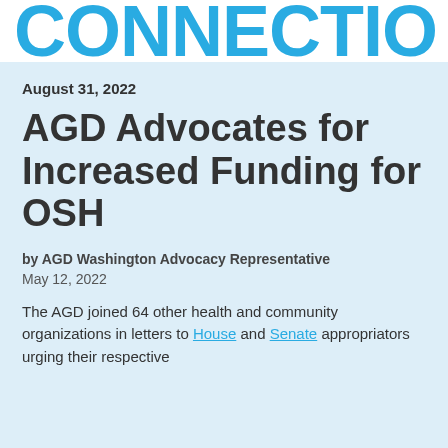CONNECTIO
August 31, 2022
AGD Advocates for Increased Funding for OSH
by AGD Washington Advocacy Representative
May 12, 2022
The AGD joined 64 other health and community organizations in letters to House and Senate appropriators urging their respective